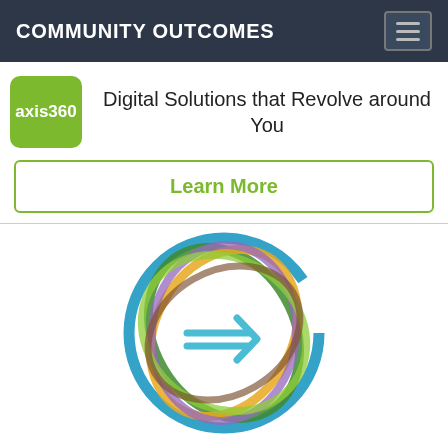COMMUNITY OUTCOMES
[Figure (logo): axis360 green rounded square logo]
Digital Solutions that Revolve around You
Learn More
[Figure (logo): Trendsetter Finalist 2021 award logo with colorful interlocking circles]
TRENDSETTER
FINALIST 2021